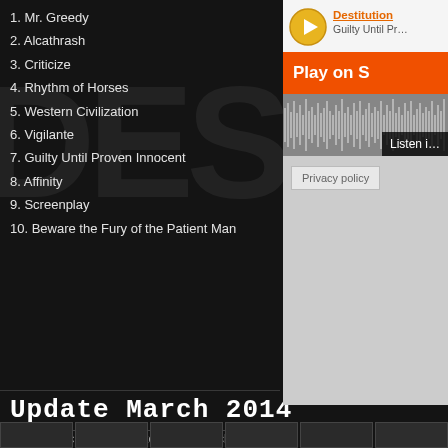1. Mr. Greedy
2. Alcathrash
3. Criticize
4. Rhythm of Horses
5. Western Civilization
6. Vigilante
7. Guilty Until Proven Innocent
8. Affinity
9. Screenplay
10. Beware the Fury of the Patient Man
[Figure (screenshot): SoundCloud embedded player widget showing 'Destitution - Guilty Until Proven Innocent' with orange Play on SoundCloud button and waveform, Privacy policy link]
Update March 2014
20 March 2014 (updated @ 23 March 2014)
Last saturday we won the semi finals of the Metal Battle at Het Podium in Hoogeveen! We'll be playing in the finals at the Atak in Enschede with Illusionless and Impalement. Thanks everyone!
A nice review about the semi finals written by Bart Schaaphok can be found here.
Furthermore, we added some new gigs! Check it out at the sidebar or in the Live section. Hope to see you on stage!
Also check out these cool photos from the Metal Battle semi finals:
[Figure (photo): Row of thumbnail photos from the Metal Battle semi finals]